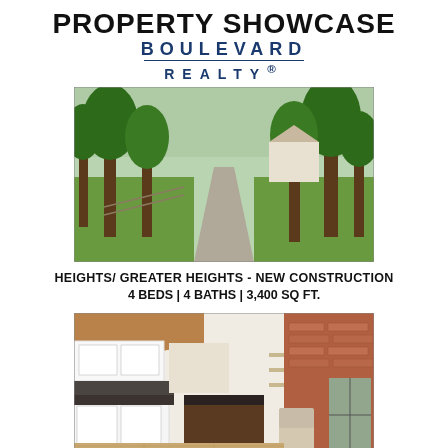PROPERTY SHOWCASE
BOULEVARD REALTY®
[Figure (photo): Outdoor photo showing a tree-lined path or driveway with lush green trees and grass in a residential neighborhood]
HEIGHTS/ GREATER HEIGHTS - NEW CONSTRUCTION
4 BEDS | 4 BATHS | 3,400 SQ FT.
[Figure (photo): Interior kitchen photo showing modern white cabinets, dark countertops, a kitchen island with bar stools, and open living area with brick wall]